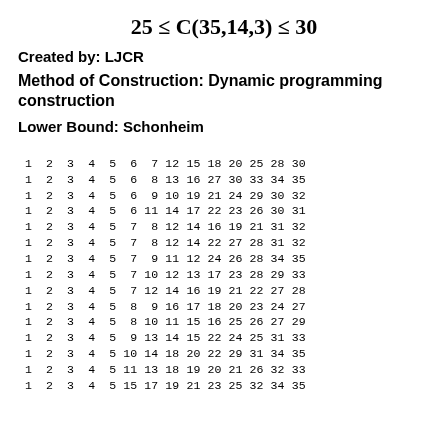Created by: LJCR
Method of Construction: Dynamic programming construction
Lower Bound: Schonheim
| 1 | 2 | 3 | 4 | 5 | 6 | 7 | 12 | 15 | 18 | 20 | 25 | 28 | 30 |
| 1 | 2 | 3 | 4 | 5 | 6 | 8 | 13 | 16 | 27 | 30 | 33 | 34 | 35 |
| 1 | 2 | 3 | 4 | 5 | 6 | 9 | 10 | 19 | 21 | 24 | 29 | 30 | 32 |
| 1 | 2 | 3 | 4 | 5 | 6 | 11 | 14 | 17 | 22 | 23 | 26 | 30 | 31 |
| 1 | 2 | 3 | 4 | 5 | 7 | 8 | 12 | 14 | 16 | 19 | 21 | 31 | 32 |
| 1 | 2 | 3 | 4 | 5 | 7 | 8 | 12 | 14 | 22 | 27 | 28 | 31 | 32 |
| 1 | 2 | 3 | 4 | 5 | 7 | 9 | 11 | 12 | 24 | 26 | 28 | 34 | 35 |
| 1 | 2 | 3 | 4 | 5 | 7 | 10 | 12 | 13 | 17 | 23 | 28 | 29 | 33 |
| 1 | 2 | 3 | 4 | 5 | 7 | 12 | 14 | 16 | 19 | 21 | 22 | 27 | 28 |
| 1 | 2 | 3 | 4 | 5 | 8 | 9 | 16 | 17 | 18 | 20 | 23 | 24 | 27 |
| 1 | 2 | 3 | 4 | 5 | 8 | 10 | 11 | 15 | 16 | 25 | 26 | 27 | 29 |
| 1 | 2 | 3 | 4 | 5 | 9 | 13 | 14 | 15 | 22 | 24 | 25 | 31 | 33 |
| 1 | 2 | 3 | 4 | 5 | 10 | 14 | 18 | 20 | 22 | 29 | 31 | 34 | 35 |
| 1 | 2 | 3 | 4 | 5 | 11 | 13 | 18 | 19 | 20 | 21 | 26 | 32 | 33 |
| 1 | 2 | 3 | 4 | 5 | 15 | 17 | 19 | 21 | 23 | 25 | 32 | 34 | 35 |